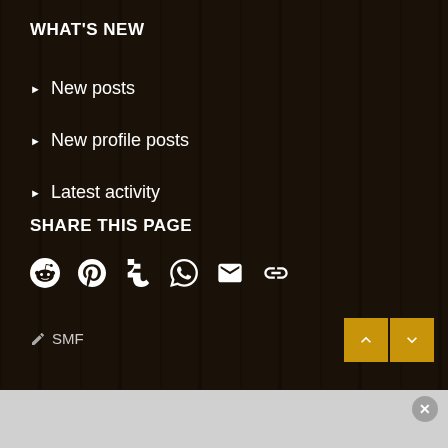WHAT'S NEW
New posts
New profile posts
Latest activity
SHARE THIS PAGE
[Figure (infographic): Social share icons: Reddit, Pinterest, Tumblr, WhatsApp, Email, Link]
SMF
[Figure (infographic): Navigation up/down arrow buttons in gold/yellow color, and a close X button]